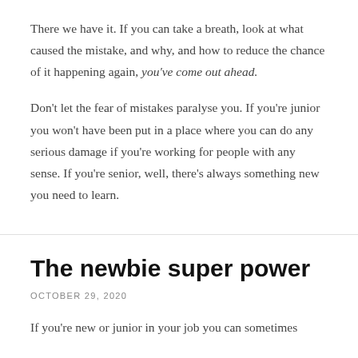There we have it. If you can take a breath, look at what caused the mistake, and why, and how to reduce the chance of it happening again, you've come out ahead.
Don't let the fear of mistakes paralyse you. If you're junior you won't have been put in a place where you can do any serious damage if you're working for people with any sense. If you're senior, well, there's always something new you need to learn.
The newbie super power
OCTOBER 29, 2020
If you're new or junior in your job you can sometimes